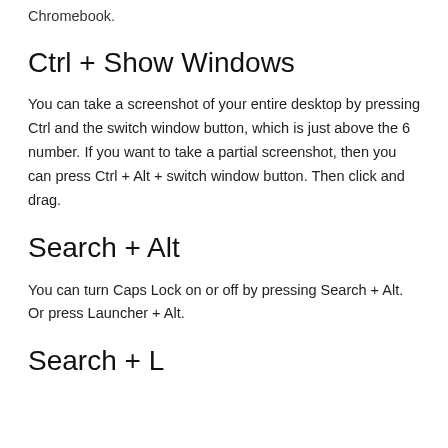Chromebook.
Ctrl + Show Windows
You can take a screenshot of your entire desktop by pressing Ctrl and the switch window button, which is just above the 6 number. If you want to take a partial screenshot, then you can press Ctrl + Alt + switch window button. Then click and drag.
Search + Alt
You can turn Caps Lock on or off by pressing Search + Alt. Or press Launcher + Alt.
Search + L